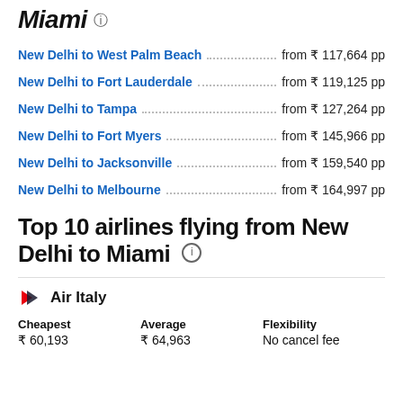Miami
New Delhi to West Palm Beach from ₹ 117,664 pp
New Delhi to Fort Lauderdale from ₹ 119,125 pp
New Delhi to Tampa from ₹ 127,264 pp
New Delhi to Fort Myers from ₹ 145,966 pp
New Delhi to Jacksonville from ₹ 159,540 pp
New Delhi to Melbourne from ₹ 164,997 pp
Top 10 airlines flying from New Delhi to Miami
[Figure (logo): Air Italy airline logo - red and dark chevron/arrow mark]
Air Italy
| Cheapest | Average | Flexibility |
| --- | --- | --- |
| ₹ 60,193 | ₹ 64,963 | No cancel fee |